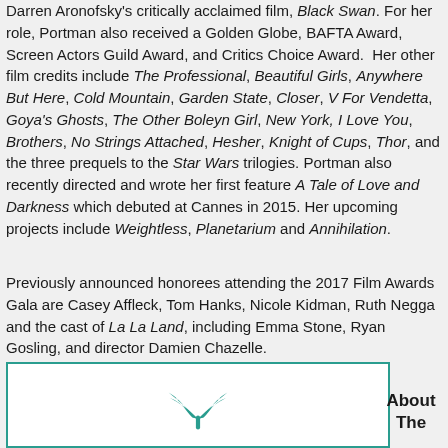Darren Aronofsky's critically acclaimed film, Black Swan. For her role, Portman also received a Golden Globe, BAFTA Award, Screen Actors Guild Award, and Critics Choice Award. Her other film credits include The Professional, Beautiful Girls, Anywhere But Here, Cold Mountain, Garden State, Closer, V For Vendetta, Goya's Ghosts, The Other Boleyn Girl, New York, I Love You, Brothers, No Strings Attached, Hesher, Knight of Cups, Thor, and the three prequels to the Star Wars trilogies. Portman also recently directed and wrote her first feature A Tale of Love and Darkness which debuted at Cannes in 2015. Her upcoming projects include Weightless, Planetarium and Annihilation.
Previously announced honorees attending the 2017 Film Awards Gala are Casey Affleck, Tom Hanks, Nicole Kidman, Ruth Negga and the cast of La La Land, including Emma Stone, Ryan Gosling, and director Damien Chazelle.
[Figure (logo): Teal film reel / palm leaf logo at bottom left]
About The